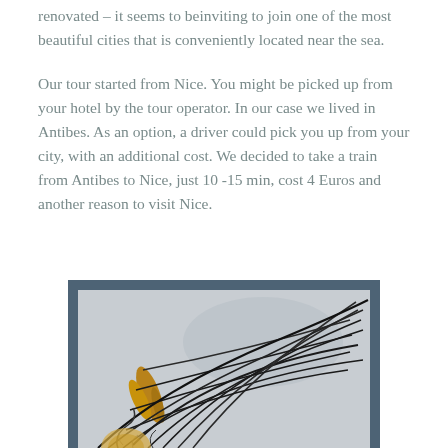renovated – it seems to beinviting to join one of the most beautiful cities that is conveniently located near the sea.
Our tour started from Nice. You might be picked up from your hotel by the tour operator. In our case we lived in Antibes. As an option, a driver could pick you up from your city, with an additional cost. We decided to take a train from Antibes to Nice, just 10 -15 min, cost 4 Euros and another reason to visit Nice.
[Figure (illustration): Abstract artwork with dark curved lines forming a grid-like fan or shell shape on a light gray background, with amber/brown elongated oval shapes on the left side]